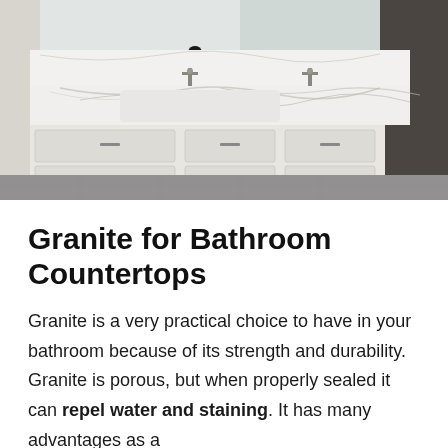[Figure (photo): A modern bathroom with a long white marble countertop and integrated sink, wall-mounted faucets, white cabinetry with drawers, and a large mirror above.]
Granite for Bathroom Countertops
Granite is a very practical choice to have in your bathroom because of its strength and durability. Granite is porous, but when properly sealed it can repel water and staining. It has many advantages as a